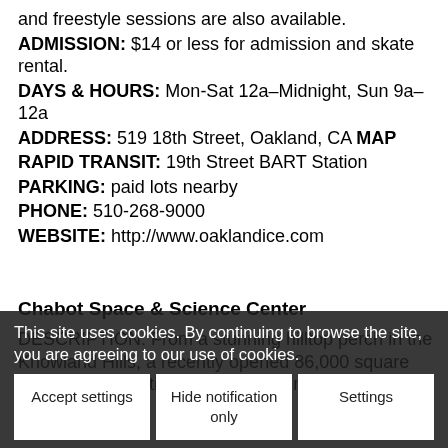and freestyle sessions are also available.
ADMISSION: $14 or less for admission and skate rental.
DAYS & HOURS: Mon-Sat 12a–Midnight, Sun 9a–12a
ADDRESS: 519 18th Street, Oakland, CA MAP
RAPID TRANSIT: 19th Street BART Station
PARKING: paid lots nearby
PHONE: 510-268-9000
WEBSITE: http://www.oaklandice.com
Chabot Space & Science Center
DESCRIPTION: From a stunning hilltop perch in the Knowland Hills, a recently opened 86,000 square foot center... an exciting space-flight simulator; a
This site uses cookies. By continuing to browse the site, you are agreeing to our use of cookies.
Accept settings | Hide notification only | Settings